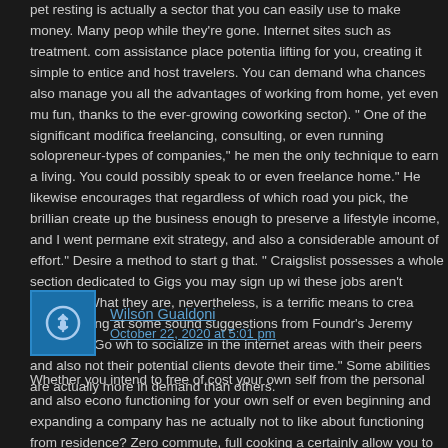pet resting is actually a sector that you can easily use to make money. Many people while they're gone. Internet sites such as treatment. com assistance place potential lifting for you, creating it simple to entice and host travelers. You can demand wha chances also manage you all the advantages of working from home, yet even mu fun, thanks to the ever-growing coworking sector). " One of the significant modifica freelancing, consulting, or even running solopreneur-types of companies," he mer the only technique to earn a living. You could possibly speak to or even freelance home." He likewise encourages that regardless of which road you pick, the brillian create up the business enough to preserve a lifestyle income, and I went permane exit strategy, and also a considerable amount of effort." Desire a method to start g that. " Craigslist possesses a whole section dedicated to Gigs you may sign up wi these jobs aren't scalable. What they are, nevertheless, is a terrific means to crea worth looking at some sound suggestions from Foundr's Jeremy Noronha. "Go wh to socialize in the internet areas with their peers and also not their potential clients devote their time." Some abilities are actually more in demand than others.
Wilson Gualdoni
October 22, 2020 at 5:01 pm
Whether you intend to free of cost your own self from the personal and also econo functioning for your own self or even beginning and expanding a company has ne actually not to like about functioning from residence? Zero commute, full cooking a certainly allow you to function from the comfort of home: Those along with an exce generate income coming from residence. Additionally, you can also offer (and also them come to your property office (although you ought to most likely obtain altere centers don't happen low-cost. Other capabilities, coming from mentor languages